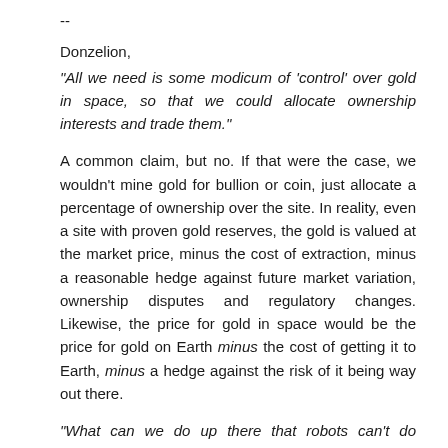--
Donzelion,
"All we need is some modicum of 'control' over gold in space, so that we could allocate ownership interests and trade them."
A common claim, but no. If that were the case, we wouldn't mine gold for bullion or coin, just allocate a percentage of ownership over the site. In reality, even a site with proven gold reserves, the gold is valued at the market price, minus the cost of extraction, minus a reasonable hedge against future market variation, ownership disputes and regulatory changes. Likewise, the price for gold in space would be the price for gold on Earth minus the cost of getting it to Earth, minus a hedge against the risk of it being way out there.
"What can we do up there that robots can't do better/faster/more safely?"
It might change in the future, but robots are shit at everything you need to do to mine asteroids. Their only